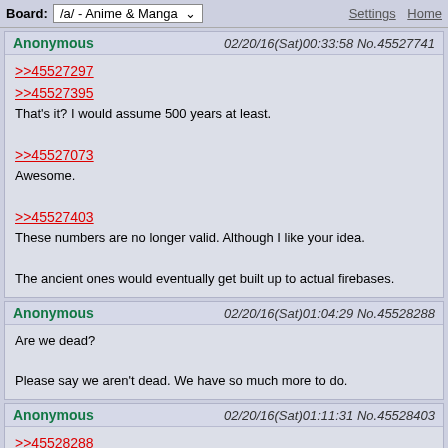Board: /a/ - Anime & Manga   Settings  Home
Anonymous   02/20/16(Sat)00:33:58 No.45527741
>>45527297
>>45527395
That's it? I would assume 500 years at least.

>>45527073
Awesome.

>>45527403
These numbers are no longer valid. Although I like your idea.

The ancient ones would eventually get built up to actual firebases.
Anonymous   02/20/16(Sat)01:04:29 No.45528288
Are we dead?

Please say we aren't dead. We have so much more to do.
Anonymous   02/20/16(Sat)01:11:31 No.45528403
>>45528288
Not dead, just sleeping

>>45527741
Where did 1200 regiments come from? Can't find it in previous